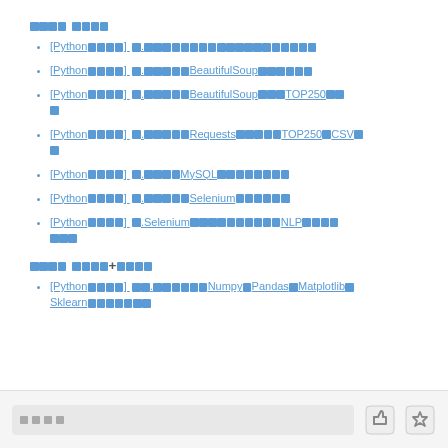【爬虫教程】
[Python爬虫] 0.课程简介（爬虫能做什么）
[Python爬虫] 0.爬虫基础BeautifulSoup的使用
[Python爬虫] 0.爬虫实战BeautifulSoup爬取TOP250电影
[Python爬虫] 0.爬虫实战Requests爬取TOP250电影CSV
[Python爬虫] 0.爬虫实战MySQL数据存储
[Python爬虫] 0.爬虫实战Selenium自动化测试
[Python爬虫] 0.Selenium与NLP实现智能聊天机器人
【数据分析】 机器学习+深度学习
[Python爬虫] 00.基础之Numpy、Pandas、Matplotlib、Sklearn库的用法